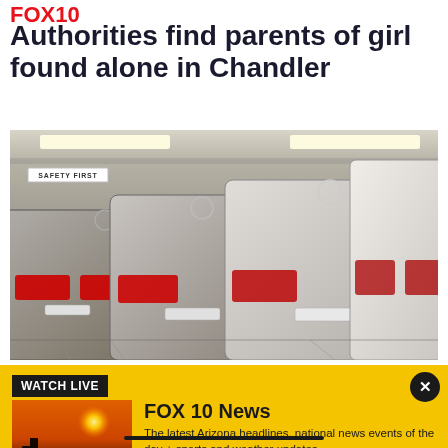FOX10
Authorities find parents of girl found alone in Chandler
[Figure (photo): Rear view of multiple Mercedes-Benz SUVs parked in a multi-story parking garage with 'SAFETY FIRST' sign visible]
WATCH LIVE
[Figure (logo): FOX 10 Phoenix logo thumbnail with sunset and cactus silhouette background]
FOX 10 News
The latest Arizona headlines, national news events of the day + sports and weather updates.